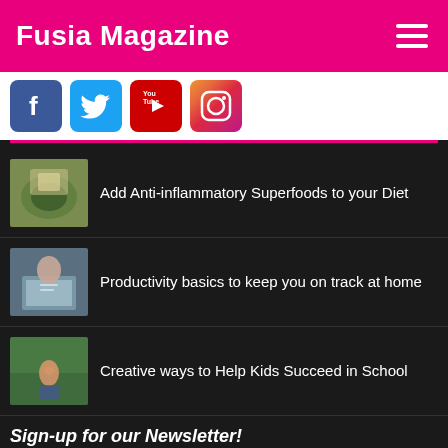Fusia Magazine
[Figure (logo): Facebook icon - blue square with white F]
[Figure (logo): Twitter icon - blue square with white bird]
[Figure (logo): YouTube icon - red square with white play button]
[Figure (logo): Instagram icon - camera on gradient background]
Add Anti-inflammatory Superfoods to your Diet
Productivity basics to keep you on track at home
Creative ways to Help Kids Succeed in School
Sign-up for our Newsletter!
Not subscribed? You can get free monthly newsletters and post notifications. Enter your email address below and then click "Sign me up now!"
Your email address